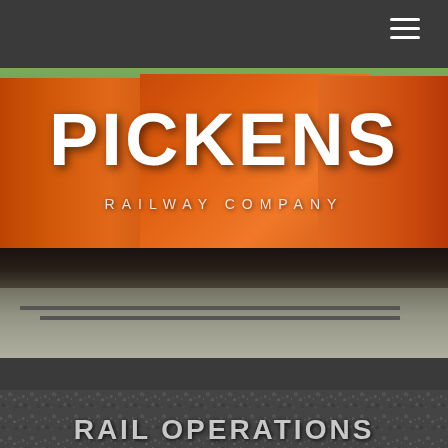[Figure (screenshot): Pickens Railway Company website screenshot showing dark navigation bar with hamburger menu, hero image of orange locomotive trains on tracks with 'PICKENS' in large white bold text and 'RAILWAY COMPANY' subtitle overlaid, followed by a dark section and a gravel-textured section partially showing 'RAIL OPERATIONS' text at the bottom]
PICKENS
RAILWAY COMPANY
RAIL OPERATIONS